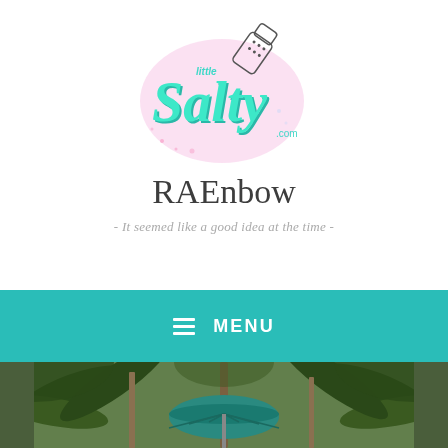[Figure (logo): Little Salty dot com logo with teal/mint script lettering and a salt shaker illustration with pink glow background]
RAEnbow
- It seemed like a good idea at the time -
MENU
[Figure (photo): Outdoor tropical scene with palm trees and a teal/green market umbrella]